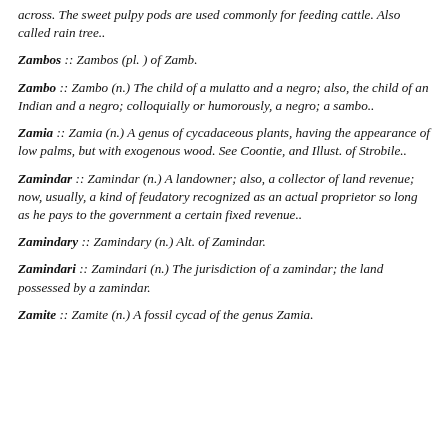across. The sweet pulpy pods are used commonly for feeding cattle. Also called rain tree..
Zambos :: Zambos (pl. ) of Zamb.
Zambo :: Zambo (n.) The child of a mulatto and a negro; also, the child of an Indian and a negro; colloquially or humorously, a negro; a sambo..
Zamia :: Zamia (n.) A genus of cycadaceous plants, having the appearance of low palms, but with exogenous wood. See Coontie, and Illust. of Strobile..
Zamindar :: Zamindar (n.) A landowner; also, a collector of land revenue; now, usually, a kind of feudatory recognized as an actual proprietor so long as he pays to the government a certain fixed revenue..
Zamindary :: Zamindary (n.) Alt. of Zamindar.
Zamindari :: Zamindari (n.) The jurisdiction of a zamindar; the land possessed by a zamindar.
Zamite :: Zamite (n.) A fossil cycad of the genus Zamia.